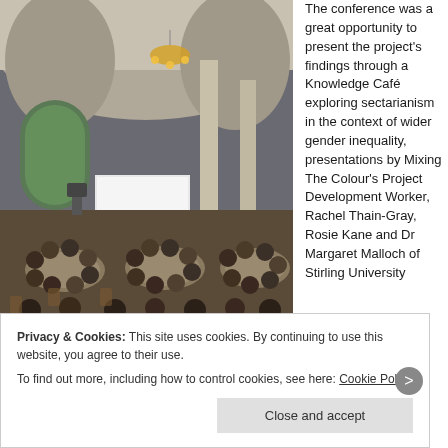[Figure (photo): A large ornate hall with vaulted ceilings, stained glass windows, and chandeliers. People are seated at round tables attending a conference event. A projection screen is visible at the front.]
The conference was a great opportunity to present the project's findings through a Knowledge Café exploring sectarianism in the context of wider gender inequality, presentations by Mixing The Colour's Project Development Worker, Rachel Thain-Gray, Rosie Kane and Dr Margaret Malloch of Stirling University
Privacy & Cookies: This site uses cookies. By continuing to use this website, you agree to their use.
To find out more, including how to control cookies, see here: Cookie Policy